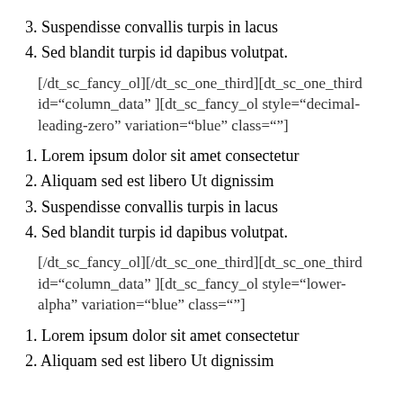3. Suspendisse convallis turpis in lacus
4. Sed blandit turpis id dapibus volutpat.
[/dt_sc_fancy_ol][/dt_sc_one_third][dt_sc_one_third id="column_data" ][dt_sc_fancy_ol style="decimal-leading-zero" variation="blue" class=""]
1. Lorem ipsum dolor sit amet consectetur
2. Aliquam sed est libero Ut dignissim
3. Suspendisse convallis turpis in lacus
4. Sed blandit turpis id dapibus volutpat.
[/dt_sc_fancy_ol][/dt_sc_one_third][dt_sc_one_third id="column_data" ][dt_sc_fancy_ol style="lower-alpha" variation="blue" class=""]
1. Lorem ipsum dolor sit amet consectetur
2. Aliquam sed est libero Ut dignissim